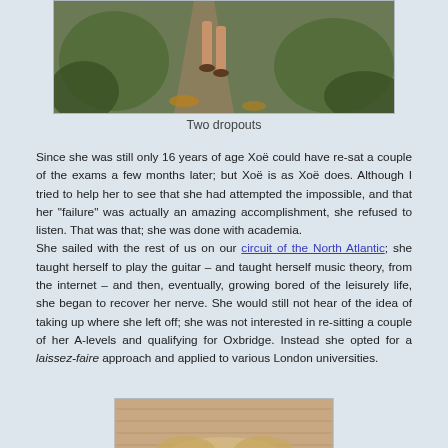[Figure (photo): Partial photo showing legs of two people walking on a forest path, bottom portion of image visible]
Two dropouts
Since she was still only 16 years of age Xoë could have re-sat a couple of the exams a few months later; but Xoë is as Xoë does. Although I tried to help her to see that she had attempted the impossible, and that her "failure" was actually an amazing accomplishment, she refused to listen. That was that; she was done with academia.
She sailed with the rest of us on our circuit of the North Atlantic; she taught herself to play the guitar – and taught herself music theory, from the internet – and then, eventually, growing bored of the leisurely life, she began to recover her nerve. She would still not hear of the idea of taking up where she left off; she was not interested in re-sitting a couple of her A-levels and qualifying for Oxbridge. Instead she opted for a laissez-faire approach and applied to various London universities.
[Figure (photo): Partial portrait photo of a person with blond hair, only top of head visible at bottom of page]